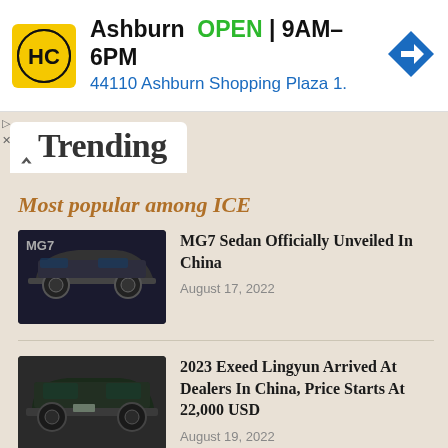[Figure (screenshot): Advertisement banner for HC auto dealership in Ashburn. Yellow HC logo on left, text 'Ashburn OPEN 9AM-6PM' and '44110 Ashburn Shopping Plaza 1.' with blue navigation arrow icon on right.]
Trending
Most popular among ICE
[Figure (photo): Dark colored MG7 sedan car displayed in showroom against dark background with MG7 text visible]
MG7 Sedan Officially Unveiled In China
August 17, 2022
[Figure (photo): Dark colored Exeed Lingyun SUV photographed at a dealership]
2023 Exeed Lingyun Arrived At Dealers In China, Price Starts At 22,000 USD
August 19, 2022